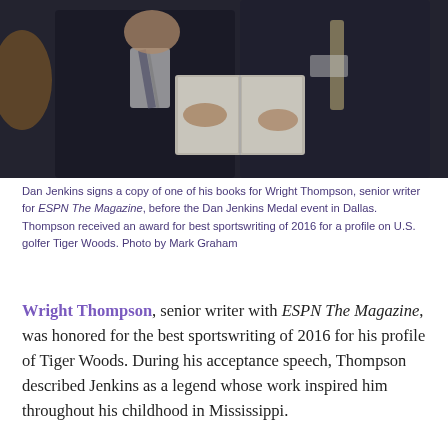[Figure (photo): Dan Jenkins signs a copy of one of his books for Wright Thompson at an event in Dallas. Two men in suits, one elderly signing a book, photographed indoors.]
Dan Jenkins signs a copy of one of his books for Wright Thompson, senior writer for ESPN The Magazine, before the Dan Jenkins Medal event in Dallas. Thompson received an award for best sportswriting of 2016 for a profile on U.S. golfer Tiger Woods. Photo by Mark Graham
Wright Thompson, senior writer with ESPN The Magazine, was honored for the best sportswriting of 2016 for his profile of Tiger Woods. During his acceptance speech, Thompson described Jenkins as a legend whose work inspired him throughout his childhood in Mississippi.